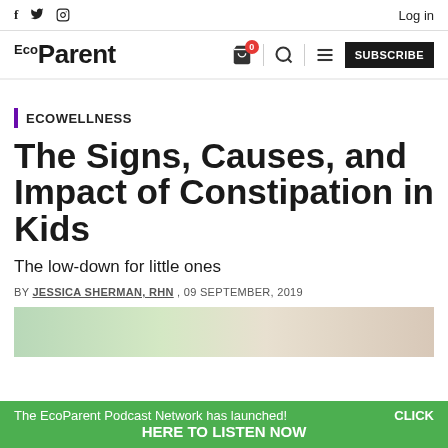f  twitter  instagram  |  Log in
EcoParent | SUBSCRIBE
ecoWELLNESS
The Signs, Causes, and Impact of Constipation in Kids
The low-down for little ones
BY JESSICA SHERMAN, RHN , 09 SEPTEMBER, 2019
[Figure (photo): Article header photo showing green plants and natural home elements]
The EcoParent Podcast Network has launched! CLICK HERE TO LISTEN NOW